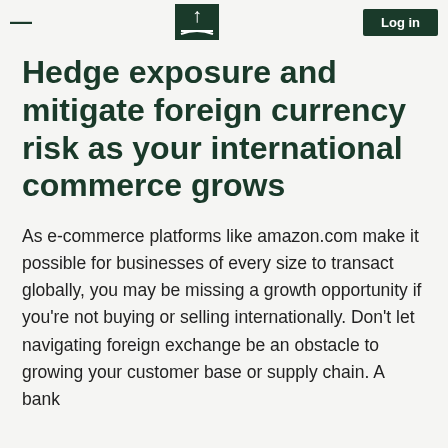— [logo] Log in
Hedge exposure and mitigate foreign currency risk as your international commerce grows
As e-commerce platforms like amazon.com make it possible for businesses of every size to transact globally, you may be missing a growth opportunity if you're not buying or selling internationally. Don't let navigating foreign exchange be an obstacle to growing your customer base or supply chain. A bank